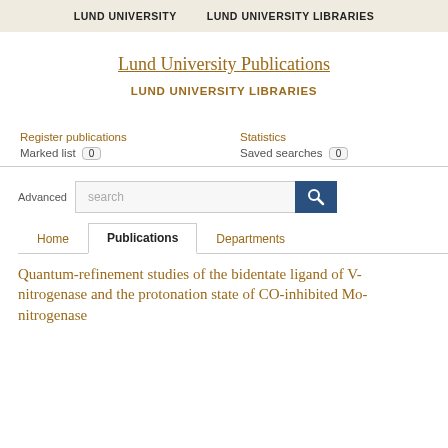LUND UNIVERSITY   LUND UNIVERSITY LIBRARIES
Lund University Publications
LUND UNIVERSITY LIBRARIES
Register publications   Statistics
Marked list 0   Saved searches 0
Advanced   search
Home   Publications   Departments
Quantum-refinement studies of the bidentate ligand of V-nitrogenase and the protonation state of CO-inhibited Mo-nitrogenase